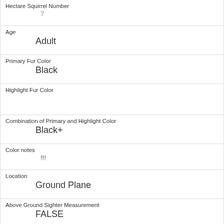| Hectare Squirrel Number | 7 |
| Age | Adult |
| Primary Fur Color | Black |
| Highlight Fur Color |  |
| Combination of Primary and Highlight Color | Black+ |
| Color notes | !!! |
| Location | Ground Plane |
| Above Ground Sighter Measurement | FALSE |
| Specific Location |  |
| Running | 0 |
| Chasing |  |